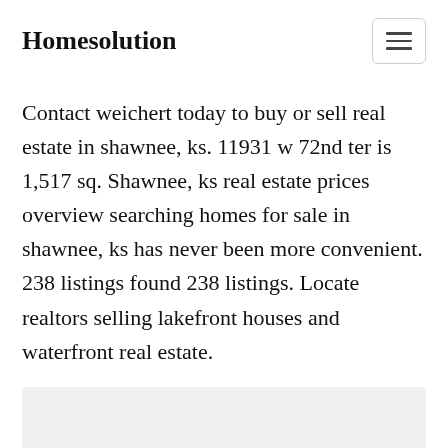Homesolution
Contact weichert today to buy or sell real estate in shawnee, ks. 11931 w 72nd ter is 1,517 sq. Shawnee, ks real estate prices overview searching homes for sale in shawnee, ks has never been more convenient. 238 listings found 238 listings. Locate realtors selling lakefront houses and waterfront real estate.